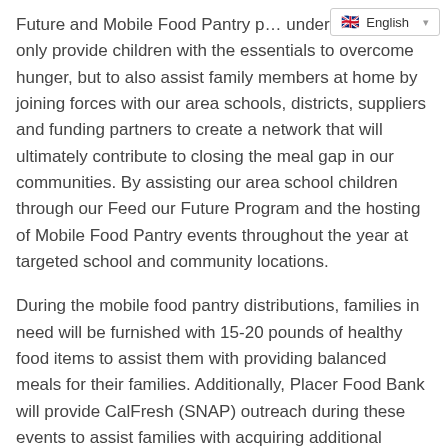[Figure (other): Language selector dropdown showing English with UK flag icon]
Future and Mobile Food Pantry p... underway to not only provide children with the essentials to overcome hunger, but to also assist family members at home by joining forces with our area schools, districts, suppliers and funding partners to create a network that will ultimately contribute to closing the meal gap in our communities. By assisting our area school children through our Feed our Future Program and the hosting of Mobile Food Pantry events throughout the year at targeted school and community locations.
During the mobile food pantry distributions, families in need will be furnished with 15-20 pounds of healthy food items to assist them with providing balanced meals for their families. Additionally, Placer Food Bank will provide CalFresh (SNAP) outreach during these events to assist families with acquiring additional assistance.
“Our Feed Our Future and Mobile Pantry program is proving to be very successful in our fight against hunger